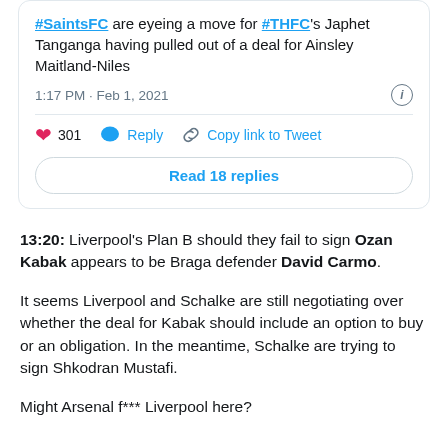[Figure (screenshot): Twitter/X tweet card showing a tweet about #SaintsFC eyeing a move for #THFC's Japhet Tanganga having pulled out of a deal for Ainsley Maitland-Niles, posted at 1:17 PM · Feb 1, 2021, with 301 likes, Reply, Copy link to Tweet actions, and Read 18 replies button.]
13:20: Liverpool's Plan B should they fail to sign Ozan Kabak appears to be Braga defender David Carmo.
It seems Liverpool and Schalke are still negotiating over whether the deal for Kabak should include an option to buy or an obligation. In the meantime, Schalke are trying to sign Shkodran Mustafi.
Might Arsenal f*** Liverpool here?